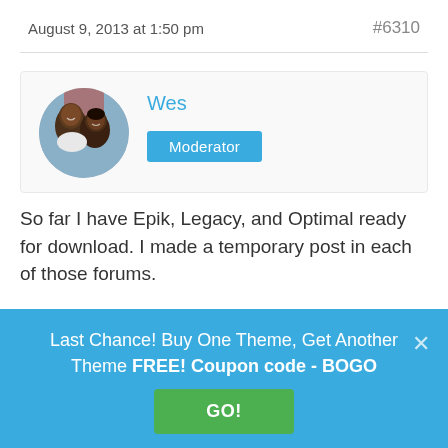August 9, 2013 at 1:50 pm   #6310
[Figure (photo): Circular avatar photo of a man and woman smiling together]
Wes
Moderator
So far I have Epik, Legacy, and Optimal ready for download. I made a temporary post in each of those forums.

I'll be finishing more today. I just need to go through all of the code and make sure everything is as close to perfect as I can possibly
Last Chance! Buy One Theme, Get Another Theme FREE! Coupon code - BOGO
GO!